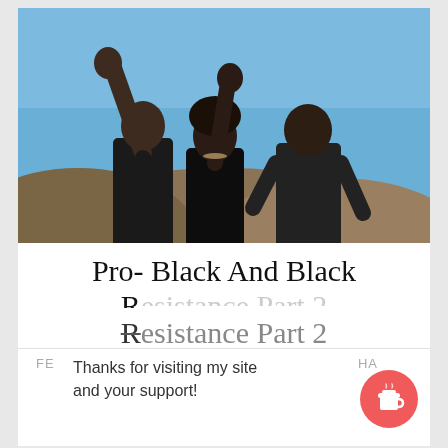[Figure (photo): Three Black individuals in black clothing standing outdoors against a clear blue sky with a hill/dune in the background. Two of them have their fists raised in the air in a power salute.]
Pro- Black And Black
R...
Thanks for visiting my site and your support!
FE
HA